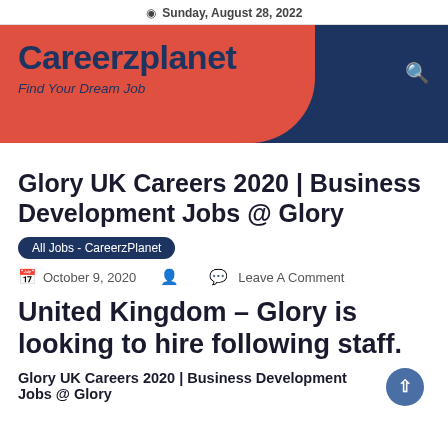Sunday, August 28, 2022
[Figure (logo): Careerzplanet logo on red teardrop/blob shape over dark navy header background. Text: 'Careerzplanet' and 'Find Your Dream Job']
Glory UK Careers 2020 | Business Development Jobs @ Glory
All Jobs - CareerzPlanet
October 9, 2020  Leave A Comment
United Kingdom – Glory is looking to hire following staff.
Glory UK Careers 2020 | Business Development Jobs @ Glory